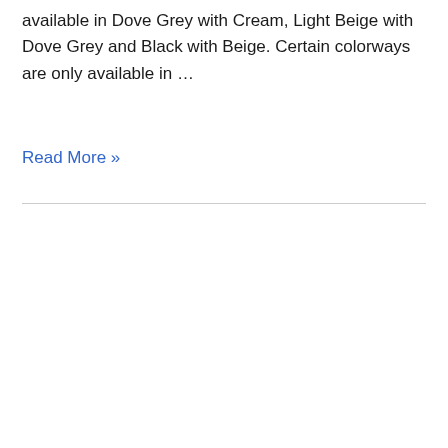available in Dove Grey with Cream, Light Beige with Dove Grey and Black with Beige. Certain colorways are only available in ...
Read More »